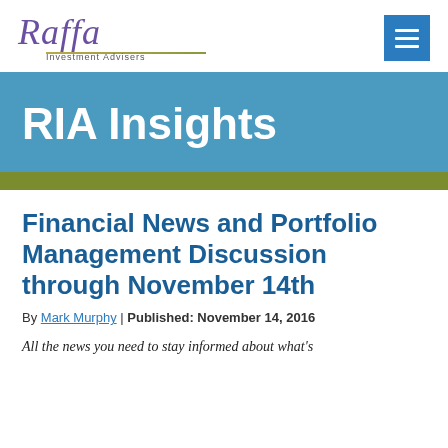Raffa Investment Advisers
RIA Insights
Financial News and Portfolio Management Discussion through November 14th
By Mark Murphy | Published: November 14, 2016
All the news you need to stay informed about what's